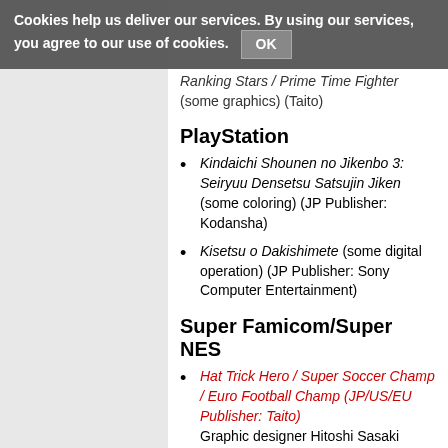Cookies help us deliver our services. By using our services, you agree to our use of cookies. OK
Scores (some graphics) (Taito) Ranking Stars / Prime Time Fighter (some graphics) (Taito)
PlayStation
Kindaichi Shounen no Jikenbo 3: Seiryuu Densetsu Satsujin Jiken (some coloring) (JP Publisher: Kodansha)
Kisetsu o Dakishimete (some digital operation) (JP Publisher: Sony Computer Entertainment)
Super Famicom/Super NES
Hat Trick Hero / Super Soccer Champ / Euro Football Champ (JP/US/EU Publisher: Taito) Graphic designer Hitoshi Sasaki claims to have worked on this as his game industry debut. [6] However, neither he nor any